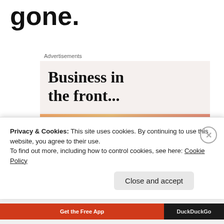gone.
Advertisements
[Figure (illustration): Advertisement banner with two sections: top section on light beige background with bold serif text 'Business in the front...', bottom section with colorful gradient (orange, peach, pink, mauve) background with bold serif text 'WordPress in the back.']
Privacy & Cookies: This site uses cookies. By continuing to use this website, you agree to their use.
To find out more, including how to control cookies, see here: Cookie Policy
Close and accept